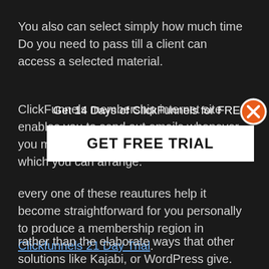You also can select simply how much time Do you need to pass till a client can access a selected material.
ClickFunnels membership internet site enables you to send out emails whenever you meet According to unique regulations which you can arrange.
[Figure (other): Popup overlay with title 'Get 14 Days of ClickFunnels for FREE' and a white button labeled 'GET FREE TRIAL', with an orange X close button in the top right]
every one of these reautures help it become straightforward for you personally to produce a membership region in Clickfunnels 21 Day Trial.
rather than the elaborate ways that other solutions like Kajabi, or WordPress give.